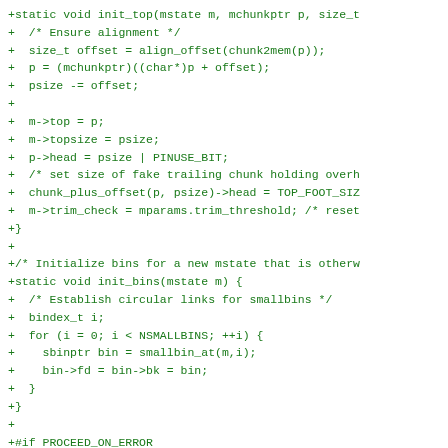[Figure (other): Source code diff (green text on white background) showing C functions: init_top, init_bins, and the beginning of reset_on_error, with added lines marked by + prefix in monospace font.]